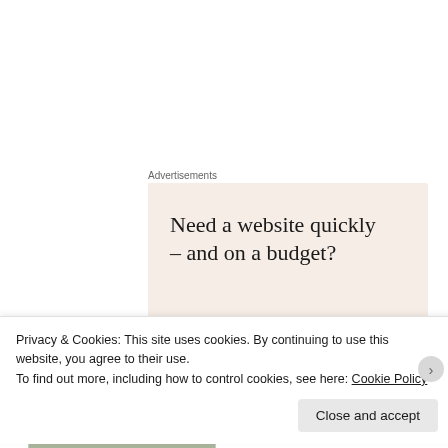Advertisements
[Figure (illustration): Advertisement banner with beige/cream background. Large serif headline reads 'Need a website quickly – and on a budget?' with subtext 'Let us build it for you'. Decorative circular image of a golden/brown bowl on the right side.]
[Figure (photo): Partially visible photo with a sage green/muted green color block, likely a Paris-themed party décor item.]
As a first step, I selected some ready-made Paris-themed party décor and a
Privacy & Cookies: This site uses cookies. By continuing to use this website, you agree to their use.
To find out more, including how to control cookies, see here: Cookie Policy
Close and accept